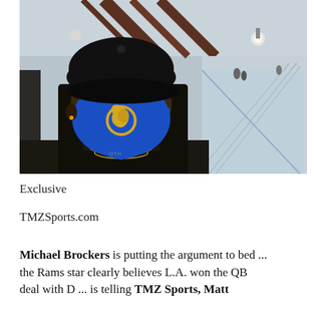[Figure (photo): A man wearing a black cap and blue LA Rams face mask standing in what appears to be an airport or large indoor public space with escalators and high ceilings visible in the background.]
Exclusive
TMZSports.com
Michael Brockers is putting the argument to bed ... the Rams star clearly believes L.A. won the QB deal with D ... is telling TMZ Sports, Matt...